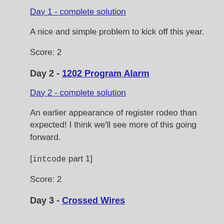Day 1 - complete solution
A nice and simple problem to kick off this year.
Score: 2
Day 2 - 1202 Program Alarm
Day 2 - complete solution
An earlier appearance of register rodeo than expected! I think we'll see more of this going forward.
[intcode part 1]
Score: 2
Day 3 - Crossed Wires